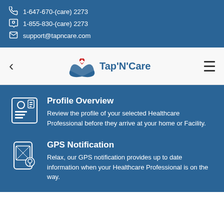1-647-670-(care)2273 | 1-855-830-(care)2273 | support@tapncare.com
[Figure (logo): Tap'N'Care logo with heart and hands icon]
Profile Overview
Review the profile of your selected Healthcare Professional before they arrive at your home or Facility.
GPS Notification
Relax, our GPS notification provides up to date information when your Healthcare Professional is on the way.